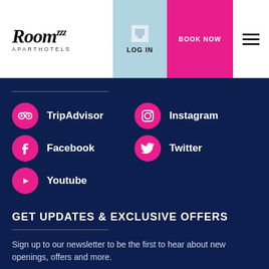[Figure (logo): Roomzzz Aparthotels logo with stylized handwritten font and superscript zzz]
LOG IN
BOOK NOW
TripAdvisor
Instagram
Facebook
Twitter
Youtube
GET UPDATES & EXCLUSIVE OFFERS
Sign up to our newsletter to be the first to hear about new openings, offers and more.
Enter email here...